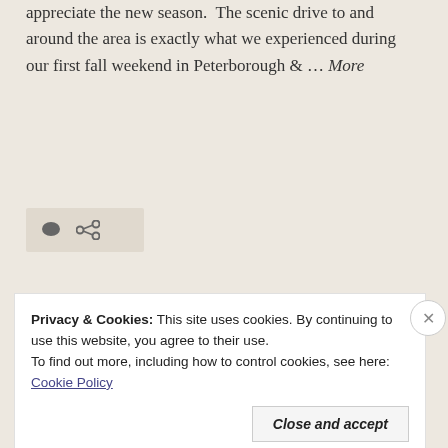appreciate the new season.  The scenic drive to and around the area is exactly what we experienced during our first fall weekend in Peterborough & … More
[Figure (other): Action bar with comment icon and share/link icon on a beige background]
[Figure (photo): Partial view of baked food items, likely pies or tarts with lattice crust, warm brown tones]
Privacy & Cookies: This site uses cookies. By continuing to use this website, you agree to their use.
To find out more, including how to control cookies, see here: Cookie Policy
Close and accept